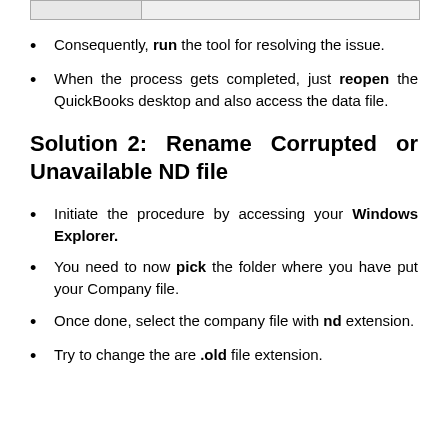Consequently, run the tool for resolving the issue.
When the process gets completed, just reopen the QuickBooks desktop and also access the data file.
Solution 2: Rename Corrupted or Unavailable ND file
Initiate the procedure by accessing your Windows Explorer.
You need to now pick the folder where you have put your Company file.
Once done, select the company file with nd extension.
Try to change the are .old file extension.